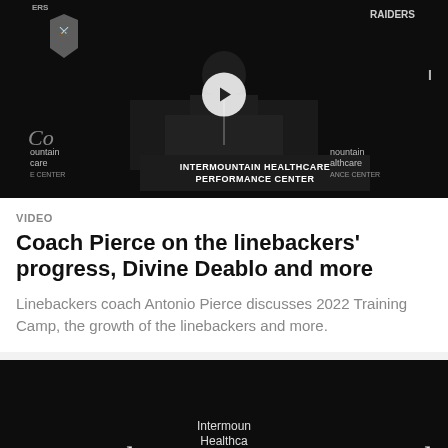[Figure (screenshot): Video thumbnail of a press conference at Intermountain Healthcare Performance Center with Raiders branding, showing a coach at a podium against a black backdrop with logos. A white play button is centered on the image.]
VIDEO
Coach Pierce on the linebackers' progress, Divine Deablo and more
Linebackers coach Antonio Pierce discusses 2022 Training Camp, the growth of the linebackers and more.
[Figure (screenshot): Video thumbnail of a player wearing a Raiders cap at an Intermountain Healthcare Performance Center backdrop with Coca-Cola logos on both sides. A white play button is at the bottom center.]